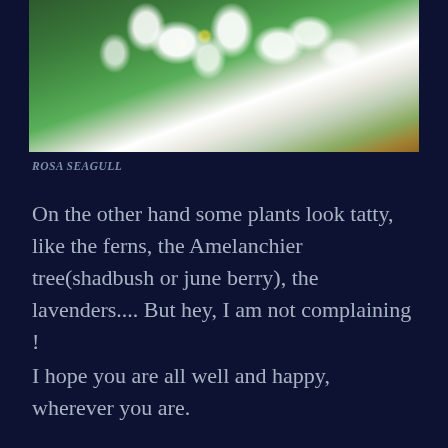[Figure (photo): Close-up photograph of white flowering branches (Rosa Seagull) with green leaves against a blurred garden background]
ROSA SEAGULL
On the other hand some plants look tatty, like the ferns, the Amelanchier tree(shadbush or june berry), the lavenders.... But hey, I am not complaining !
I hope you are all well and happy, wherever you are.